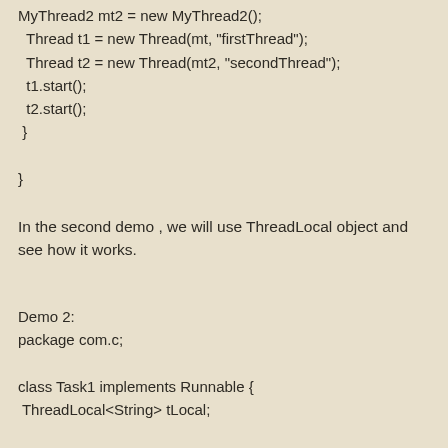MyThread2 mt2 = new MyThread2();
  Thread t1 = new Thread(mt, "firstThread");
  Thread t2 = new Thread(mt2, "secondThread");
  t1.start();
  t2.start();
 }

}
In the second demo , we will use ThreadLocal object and see how it works.
Demo 2:
package com.c;

class Task1 implements Runnable {
 ThreadLocal<String> tLocal;

 public Task1(ThreadLocal<String> tLocal) {
  super();
  this.tLocal = tLocal;
 }